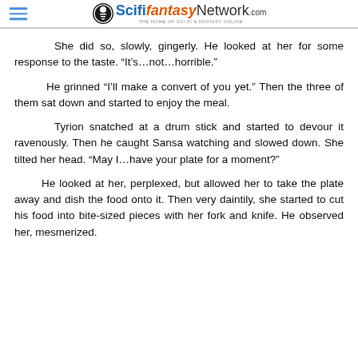ScifiFantasyNetwork.com — THE HOME OF SCI-FI & FANTASY ONLINE
She did so, slowly, gingerly. He looked at her for some response to the taste. “It’s…not…horrible.”
He grinned “I’ll make a convert of you yet.” Then the three of them sat down and started to enjoy the meal.
Tyrion snatched at a drum stick and started to devour it ravenously. Then he caught Sansa watching and slowed down. She tilted her head. “May I…have your plate for a moment?”
He looked at her, perplexed, but allowed her to take the plate away and dish the food onto it. Then very daintily, she started to cut his food into bite-sized pieces with her fork and knife. He observed her, mesmerized.